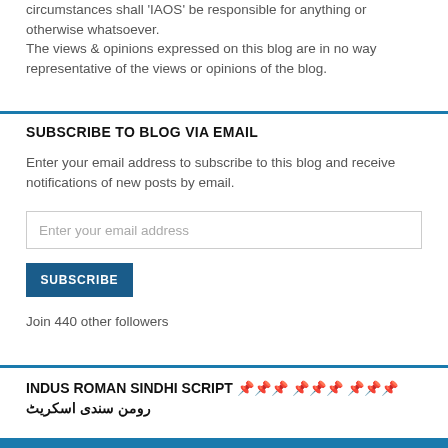circumstances shall 'IAOS' be responsible for anything or otherwise whatsoever.
The views & opinions expressed on this blog are in no way representative of the views or opinions of the blog.
SUBSCRIBE TO BLOG VIA EMAIL
Enter your email address to subscribe to this blog and receive notifications of new posts by email.
Enter your email address
SUBSCRIBE
Join 440 other followers
INDUS ROMAN SINDHI SCRIPT sindhi sindhi sindhi رومن سندی اسکريٹ